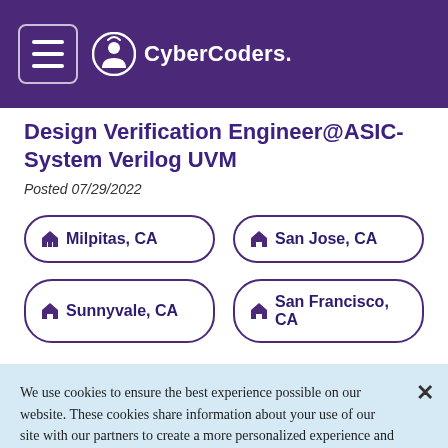CyberCoders
Design Verification Engineer@ASIC-System Verilog UVM
Posted 07/29/2022
Milpitas, CA
San Jose, CA
Sunnyvale, CA
San Francisco, CA
We use cookies to ensure the best experience possible on our website. These cookies share information about your use of our site with our partners to create a more personalized experience and provide relevant advertising for you, in addition to web analytics for us. By clicking "Accept" or continuing to navigate our site, you agree to our use of cookies. For more information please see our Privacy Policy
Accept All Cookies